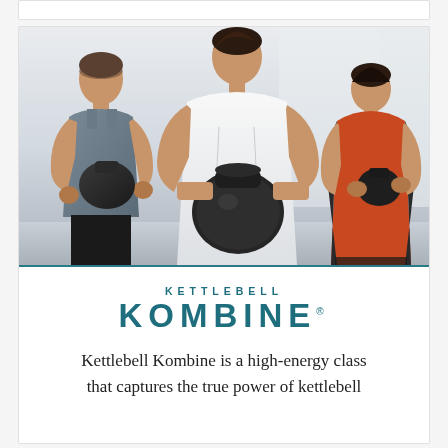[Figure (photo): Three people in a gym holding kettlebells. A man in a grey tank top on the left, a man in a white compression shirt in the center (foreground) lifting a kettlebell up to his chest, and a woman in an orange top on the right. Bright studio/gym background.]
KETTLEBELL KOMBINE
Kettlebell Kombine is a high-energy class that captures the true power of kettlebell